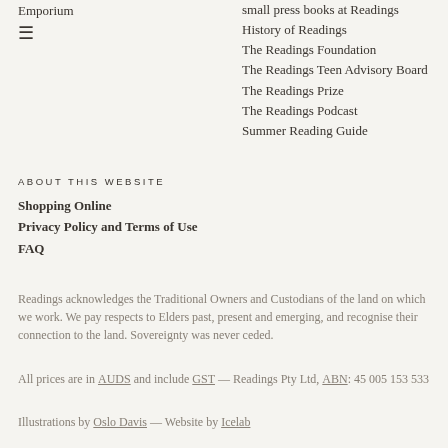Emporium
[Figure (other): List/menu icon (three horizontal lines)]
small press books at Readings
History of Readings
The Readings Foundation
The Readings Teen Advisory Board
The Readings Prize
The Readings Podcast
Summer Reading Guide
ABOUT THIS WEBSITE
Shopping Online
Privacy Policy and Terms of Use
FAQ
Readings acknowledges the Traditional Owners and Custodians of the land on which we work. We pay respects to Elders past, present and emerging, and recognise their connection to the land. Sovereignty was never ceded.
All prices are in AUDS and include GST — Readings Pty Ltd, ABN: 45 005 153 533
Illustrations by Oslo Davis — Website by Icelab